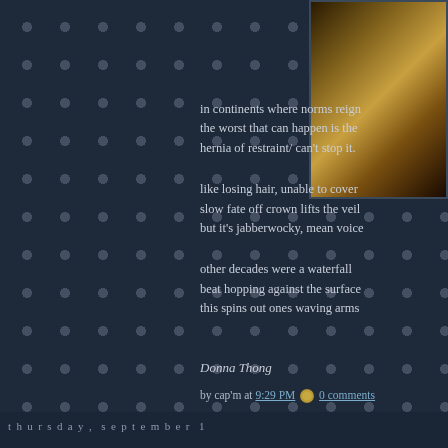[Figure (photo): Close-up photo of what appears to be a golden/bronzed fish or food item on a white plate, dark background]
in continents where norms reign
the worst that can happen is the
hernia of restraint/ can't stop it.
like losing hair, unable to cover
slow fate off crown lifts the veil
but it's jabberwocky, mean voice
other decades were a waterfall
beat hopping against the surface
this spins out ones waving arms
Donna Thong
by cap'm at 9:29 PM  0 comments
thursday, september 1